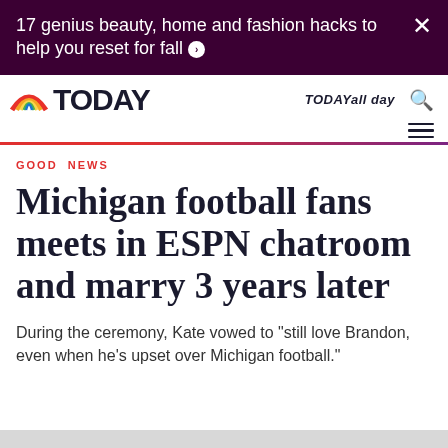17 genius beauty, home and fashion hacks to help you reset for fall ›
TODAY | TODAY all day | Search
GOOD NEWS
Michigan football fans meets in ESPN chatroom and marry 3 years later
During the ceremony, Kate vowed to "still love Brandon, even when he's upset over Michigan football."